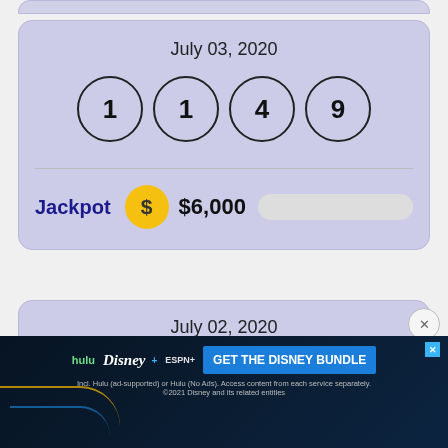July 03, 2020
1  1  4  9
Jackpot  $6,000
July 02, 2020
[Figure (infographic): Disney Bundle advertisement banner with Hulu, Disney+, ESPN+ logos and 'GET THE DISNEY BUNDLE' call to action button]